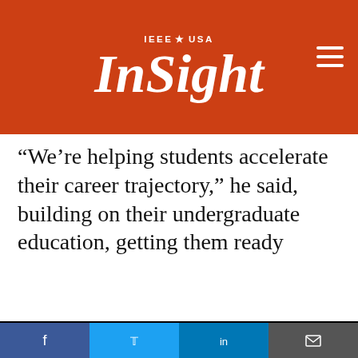IEEE USA InSight
“We’re helping students accelerate their career trajectory,” he said, building on their undergraduate education, getting them ready
IEEE websites place cookies on your device to give you the best user experience. By using our websites, you agree to the placement of these cookies. To learn more, read our Privacy Policy.
Accept & Close